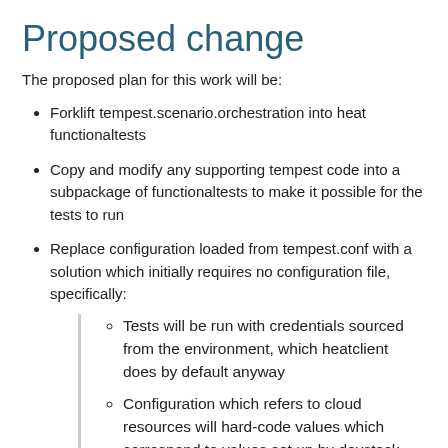Proposed change
The proposed plan for this work will be:
Forklift tempest.scenario.orchestration into heat functionaltests
Copy and modify any supporting tempest code into a subpackage of functionaltests to make it possible for the tests to run
Replace configuration loaded from tempest.conf with a solution which initially requires no configuration file, specifically:
Tests will be run with credentials sourced from the environment, which heatclient does by default anyway
Configuration which refers to cloud resources will hard-code values which correspond to values set up by devstack, and tests will fail if cloud